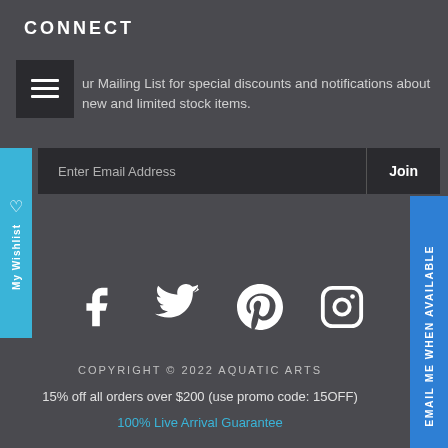CONNECT
ur Mailing List for special discounts and notifications about new and limited stock items.
Enter Email Address   Join
My Wishlist
[Figure (illustration): Social media icons: Facebook, Twitter, Pinterest, Instagram]
EMAIL ME WHEN AVAILABLE
COPYRIGHT © 2022 AQUATIC ARTS
15% off all orders over $200 (use promo code: 15OFF)
100% Live Arrival Guarantee